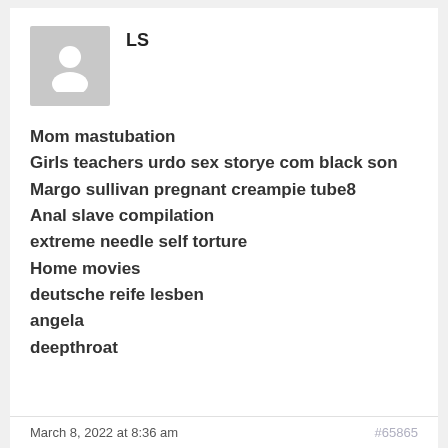LS
[Figure (illustration): Generic user avatar placeholder — grey square with white silhouette of a person]
Mom mastubation
Girls teachers urdo sex storye com black son
Margo sullivan pregnant creampie tube8
Anal slave compilation
extreme needle self torture
Home movies
deutsche reife lesben
angela
deepthroat
March 8, 2022 at 8:36 am    #65865